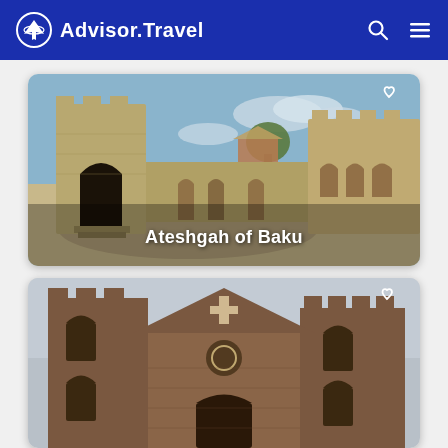Advisor.Travel
[Figure (photo): Ancient stone fortress ruins with arched gateway and stone walls under blue sky - Ateshgah of Baku]
Ateshgah of Baku
[Figure (photo): Brick church or cathedral with towers and cross on the facade under overcast sky]